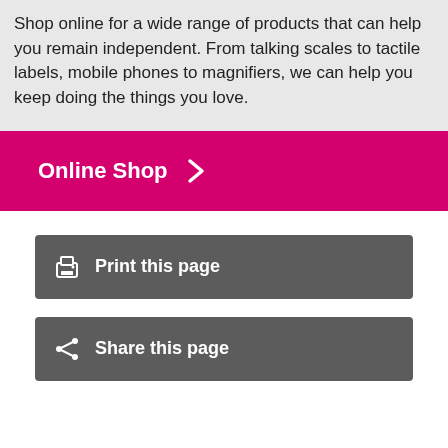Shop online for a wide range of products that can help you remain independent. From talking scales to tactile labels, mobile phones to magnifiers, we can help you keep doing the things you love.
Online Shop >
Print this page
Share this page